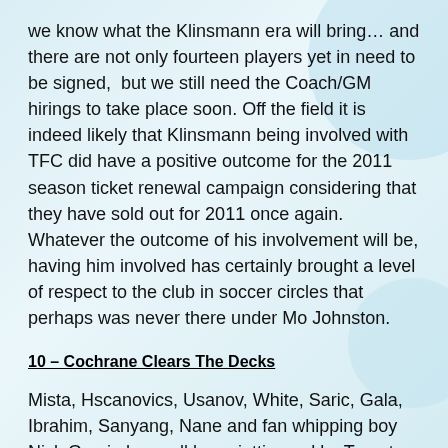we know what the Klinsmann era will bring… and there are not only fourteen players yet in need to be signed,  but we still need the Coach/GM hirings to take place soon. Off the field it is indeed likely that Klinsmann being involved with TFC did have a positive outcome for the 2011 season ticket renewal campaign considering that they have sold out for 2011 once again. Whatever the outcome of his involvement will be, having him involved has certainly brought a level of respect to the club in soccer circles that perhaps was never there under Mo Johnston.
10 – Cochrane Clears The Decks
Mista, Hscanovics, Usanov, White, Saric, Gala, Ibrahim, Sanyang, Nane and fan whipping boy Nick Garcia have all been jettisoned by Toronto FC in recent weeks by Interim General Manager Earl